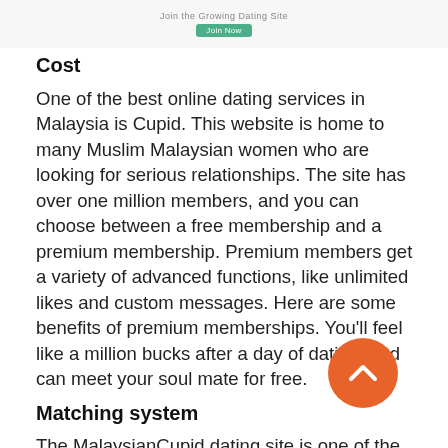[Figure (screenshot): Top banner with text 'Join the Growing Dating Site' and a green button]
Cost
One of the best online dating services in Malaysia is Cupid. This website is home to many Muslim Malaysian women who are looking for serious relationships. The site has over one million members, and you can choose between a free membership and a premium membership. Premium members get a variety of advanced functions, like unlimited likes and custom messages. Here are some benefits of premium memberships. You'll feel like a million bucks after a day of dating, and can meet your soul mate for free.
Matching system
The MalaysianCupid dating site is one of the best online dating services in the country. It is operated by Cupid Media, which also operates popular dating sites in other countries. It has hundreds of members and makes meeting new people easy.